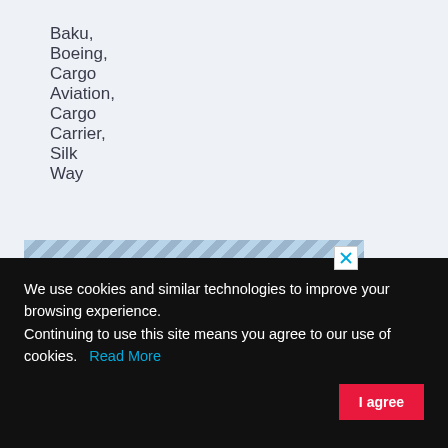Baku, Boeing, Cargo Aviation, Cargo Carrier, Silk Way
[Figure (illustration): IATA World Cargo advertisement banner showing bold yellow text labels reading IATA, WORLD, CARGO on a sky background with a clock tower (Big Ben style) visible on the right side. A close/X button is in the top right corner. Diagonal stripe pattern at the top of the banner.]
We use cookies and similar technologies to improve your browsing experience.
Continuing to use this site means you agree to our use of cookies.   Read More